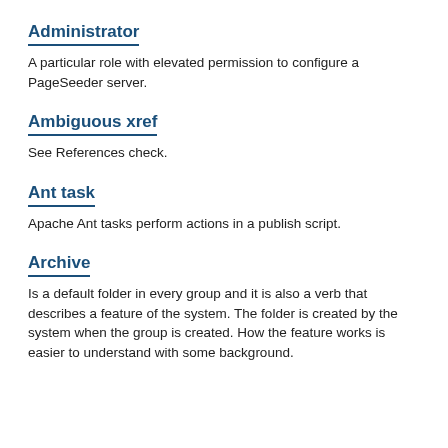Administrator
A particular role with elevated permission to configure a PageSeeder server.
Ambiguous xref
See References check.
Ant task
Apache Ant tasks perform actions in a publish script.
Archive
Is a default folder in every group and it is also a verb that describes a feature of the system. The folder is created by the system when the group is created. How the feature works is easier to understand with some background.